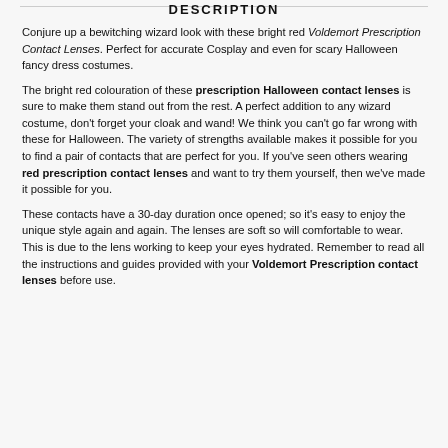DESCRIPTION
Conjure up a bewitching wizard look with these bright red Voldemort Prescription Contact Lenses. Perfect for accurate Cosplay and even for scary Halloween fancy dress costumes.
The bright red colouration of these prescription Halloween contact lenses is sure to make them stand out from the rest. A perfect addition to any wizard costume, don't forget your cloak and wand! We think you can't go far wrong with these for Halloween. The variety of strengths available makes it possible for you to find a pair of contacts that are perfect for you. If you've seen others wearing red prescription contact lenses and want to try them yourself, then we've made it possible for you.
These contacts have a 30-day duration once opened; so it's easy to enjoy the unique style again and again. The lenses are soft so will comfortable to wear. This is due to the lens working to keep your eyes hydrated. Remember to read all the instructions and guides provided with your Voldemort Prescription contact lenses before use.